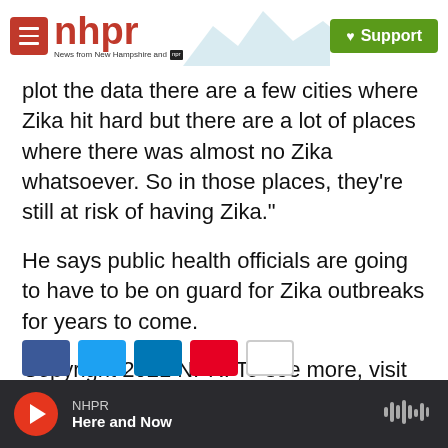nhpr — News from New Hampshire and NPR | Support
plot the data there are a few cities where Zika hit hard but there are a lot of places where there was almost no Zika whatsoever. So in those places, they're still at risk of having Zika."
He says public health officials are going to have to be on guard for Zika outbreaks for years to come.
Copyright 2021 NPR. To see more, visit https://www.npr.org.
National
NHPR — Here and Now